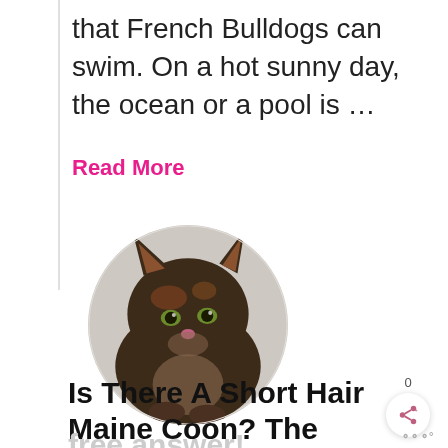that French Bulldogs can swim. On a hot sunny day, the ocean or a pool is …
Read More
[Figure (photo): A circular cropped photo of a tortoiseshell/dark cat looking at the camera, with brown and black fur markings.]
Is There A Short Hair Maine Coon? The fluff-
free answer!